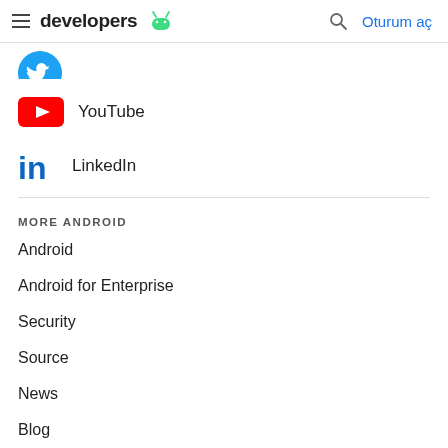developers  [Android logo]  [search]  Oturum aç
Twitter (partial icon)
YouTube
LinkedIn
MORE ANDROID
Android
Android for Enterprise
Security
Source
News
Blog
Podcasts